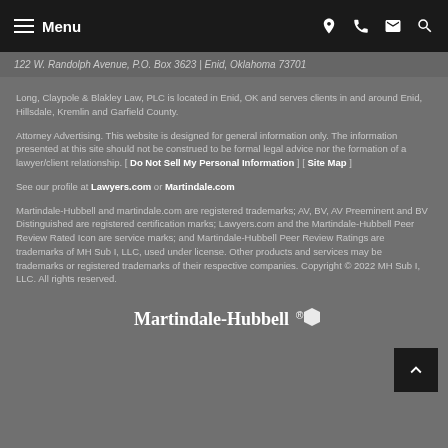Menu (navigation bar with hamburger icon and icons for location, phone, email, search)
122 W. Randolph Avenue, P.O. Box 3623 | Enid, Oklahoma 73701
Long, Claypole & Blakley Law, PLC is located in Enid, OK and serves clients in and around Enid, Hillsdale, Kremlin and Garfield County.
Attorney Advertising. This website is designed for general information only. The information presented at this site should not be construed to be formal legal advice nor the formation of a lawyer/client relationship. [ Do Not Sell My Personal Information ] [ Site Map ]
See our profile at Lawyers.com or Martindale.com
Martindale-Hubbell and martindale.com are registered trademarks; AV, BV, AV Preeminent and BV Distinguished are registered certification marks; Lawyers.com and the Martindale-Hubbell Peer Review Rated Icon are service marks; and Martindale-Hubbell Peer Review Ratings are trademarks of MH Sub I, LLC, used under license. Other products and services may be trademarks or registered trademarks of their respective companies. Copyright © 2022 MH Sub I, LLC. All rights reserved.
[Figure (logo): Martindale-Hubbell logo with hexagon badge mark]